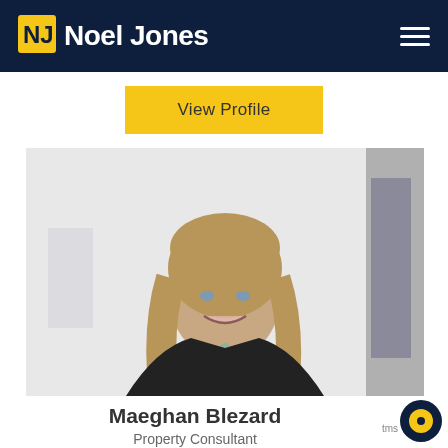Noel Jones
View Profile
[Figure (photo): Professional headshot of Maeghan Blezard, a woman with long blonde hair wearing a dark blazer over a white top, smiling, against a light background]
Maeghan Blezard
Property Consultant